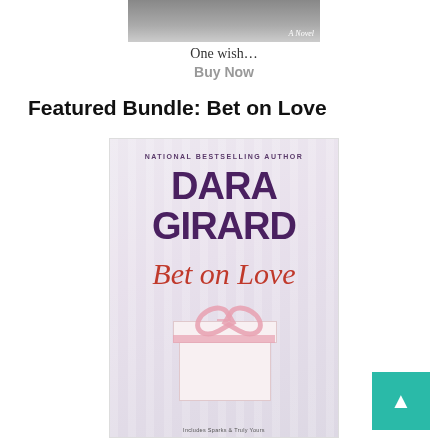[Figure (photo): Top portion of a book cover showing a dark background with 'A Novel' text, partially cropped]
One wish…
Buy Now
Featured Bundle: Bet on Love
[Figure (photo): Book cover for 'Bet on Love' by Dara Girard. National Bestselling Author label at top. Author name DARA GIRARD in large purple bold text. Title 'Bet on Love' in red italic script. A white gift box with pink ribbon and bow at the bottom. Text at very bottom reads 'Includes Sparks & Truly Yours'.]